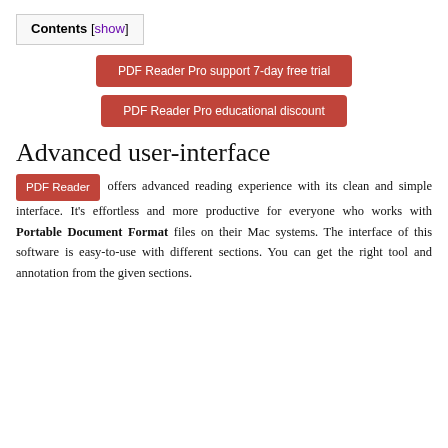Contents [show]
PDF Reader Pro support 7-day free trial
PDF Reader Pro educational discount
Advanced user-interface
PDF Reader offers advanced reading experience with its clean and simple interface. It’s effortless and more productive for everyone who works with Portable Document Format files on their Mac systems. The interface of this software is easy-to-use with different sections. You can get the right tool and annotation from the given sections.